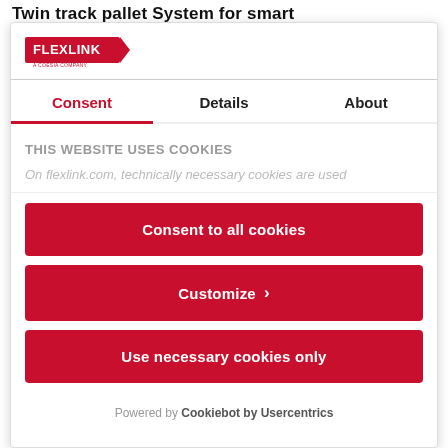Twin track pallet System for smart
[Figure (logo): FlexLink logo — red rectangular badge with white 'FLEXLINK' text and a small tagline below]
Consent | Details | About
THIS WEBSITE USES COOKIES
On flexlink.com, technically necessary cookies are used
Consent to all cookies
Customize ›
Use necessary cookies only
Powered by Cookiebot by Usercentrics